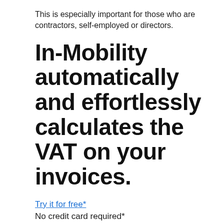This is especially important for those who are contractors, self-employed or directors.
In-Mobility automatically and effortlessly calculates the VAT on your invoices.
Try it for free*
No credit card required*
We use cookies to ensure you have the best experience on our site. If you continue to use our site, we will